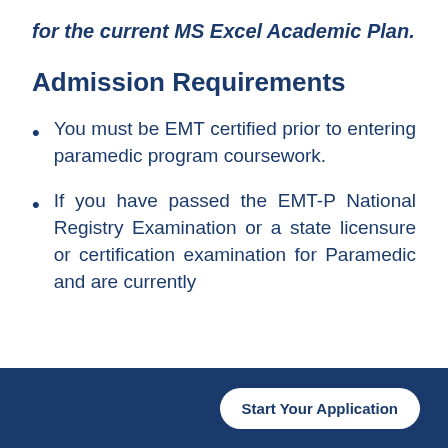for the current MS Excel Academic Plan.
Admission Requirements
You must be EMT certified prior to entering paramedic program coursework.
If you have passed the EMT-P National Registry Examination or a state licensure or certification examination for Paramedic and are currently
Start Your Application